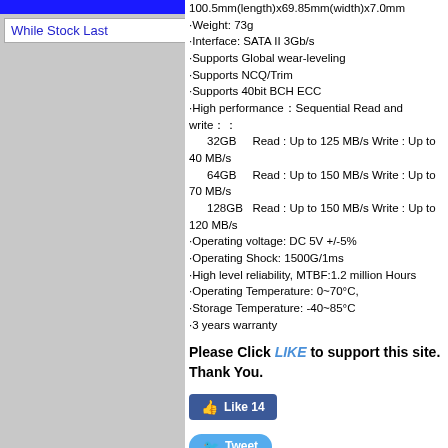[Figure (other): Blue navigation bar at top of left column]
While Stock Last
100.5mm(length)x69.85mm(width)x7.0mm(height)
·Weight: 73g
·Interface: SATA II 3Gb/s
·Supports Global wear-leveling
·Supports NCQ/Trim
·Supports 40bit BCH ECC
·High performance：Sequential Read and write：：
32GB    Read : Up to 125 MB/s Write : Up to 40 MB/s
64GB    Read : Up to 150 MB/s Write : Up to 70 MB/s
128GB   Read : Up to 150 MB/s Write : Up to 120 MB/s
·Operating voltage: DC 5V +/-5%
·Operating Shock: 1500G/1ms
·High level reliability, MTBF:1.2 million Hours
·Operating Temperature: 0~70°C,
·Storage Temperature: -40~85°C
·3 years warranty
Please Click LIKE to support this site. Thank You.
[Figure (other): Facebook Like button showing count of 14]
[Figure (other): Twitter Tweet button]